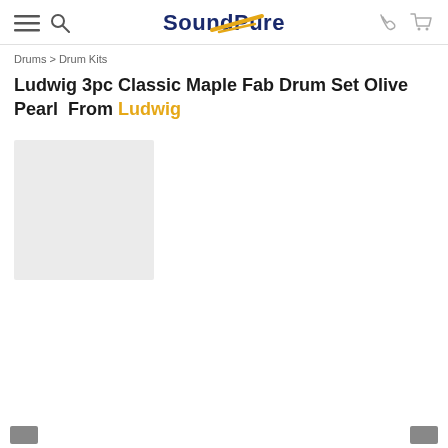SoundPure
Drums > Drum Kits
Ludwig 3pc Classic Maple Fab Drum Set Olive Pearl  From Ludwig
[Figure (photo): Gray placeholder image for product photo]